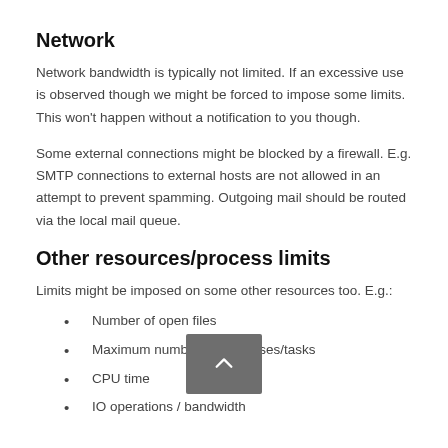Network
Network bandwidth is typically not limited. If an excessive use is observed though we might be forced to impose some limits. This won't happen without a notification to you though.
Some external connections might be blocked by a firewall. E.g. SMTP connections to external hosts are not allowed in an attempt to prevent spamming. Outgoing mail should be routed via the local mail queue.
Other resources/process limits
Limits might be imposed on some other resources too. E.g.:
Number of open files
Maximum number of processes/tasks
CPU time
IO operations / bandwidth